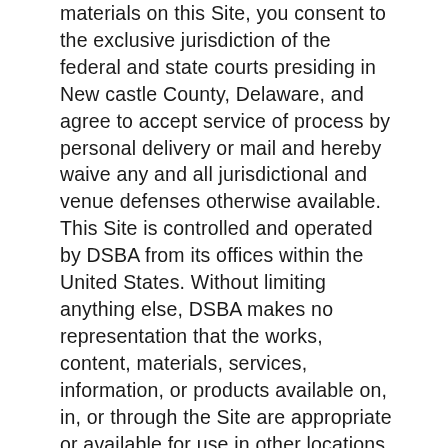materials on this Site, you consent to the exclusive jurisdiction of the federal and state courts presiding in New castle County, Delaware, and agree to accept service of process by personal delivery or mail and hereby waive any and all jurisdictional and venue defenses otherwise available. This Site is controlled and operated by DSBA from its offices within the United States. Without limiting anything else, DSBA makes no representation that the works, content, materials, services, information, or products available on, in, or through the Site are appropriate or available for use in other locations, and access to them from territories where they are illegal is prohibited. Those who choose to access this Site from other locations do so on their own volition and are responsible for compliance with applicable laws. The waiver or failure of DSBA to exercise in any respect any right provided hereunder shall not be deemed a waiver of such right in the future or a waiver of any of other rights established under these Terms and Conditions. Headings used in these Terms and Conditions, including without limitation, the